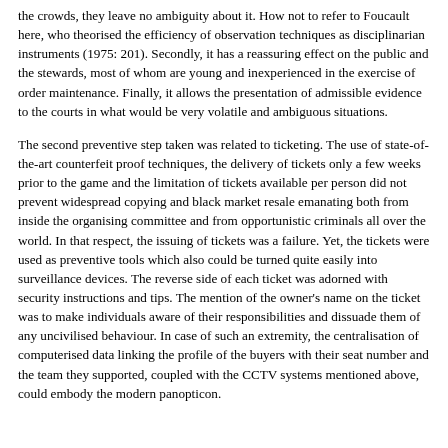the crowds, they leave no ambiguity about it. How not to refer to Foucault here, who theorised the efficiency of observation techniques as disciplinarian instruments (1975: 201). Secondly, it has a reassuring effect on the public and the stewards, most of whom are young and inexperienced in the exercise of order maintenance. Finally, it allows the presentation of admissible evidence to the courts in what would be very volatile and ambiguous situations.
The second preventive step taken was related to ticketing. The use of state-of-the-art counterfeit proof techniques, the delivery of tickets only a few weeks prior to the game and the limitation of tickets available per person did not prevent widespread copying and black market resale emanating both from inside the organising committee and from opportunistic criminals all over the world. In that respect, the issuing of tickets was a failure. Yet, the tickets were used as preventive tools which also could be turned quite easily into surveillance devices. The reverse side of each ticket was adorned with security instructions and tips. The mention of the owner's name on the ticket was to make individuals aware of their responsibilities and dissuade them of any uncivilised behaviour. In case of such an extremity, the centralisation of computerised data linking the profile of the buyers with their seat number and the team they supported, coupled with the CCTV systems mentioned above, could embody the modern panopticon.